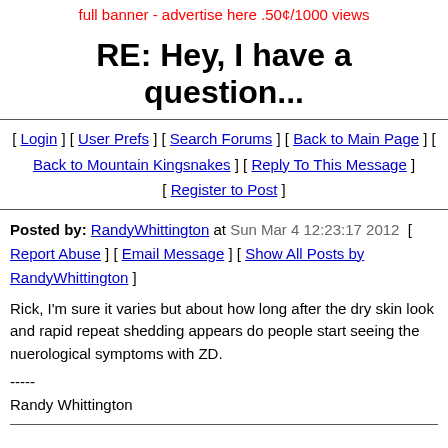full banner - advertise here .50¢/1000 views
RE: Hey, I have a question...
[ Login ] [ User Prefs ] [ Search Forums ] [ Back to Main Page ] [ Back to Mountain Kingsnakes ] [ Reply To This Message ] [ Register to Post ]
Posted by: RandyWhittington at Sun Mar 4 12:23:17 2012  [ Report Abuse ] [ Email Message ] [ Show All Posts by RandyWhittington ]
Rick, I'm sure it varies but about how long after the dry skin look and rapid repeat shedding appears do people start seeing the nuerological symptoms with ZD.
-----
Randy Whittington